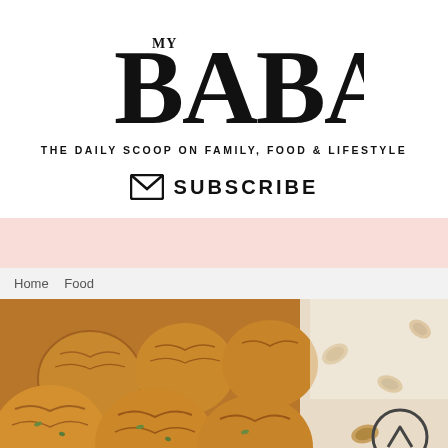[Figure (logo): My Baba logo - large serif BABA text with small 'MY' superscript]
THE DAILY SCOOP ON FAMILY, FOOD & LIFESTYLE
✉ SUBSCRIBE
[Figure (other): Pink/salmon colored banner strip]
Home   Food
[Figure (photo): Close-up photo of golden-brown baked cookie balls/scones piled together, with some nuts/pistachios scattered on the right side. A back-to-top chevron circle button is overlaid bottom right.]